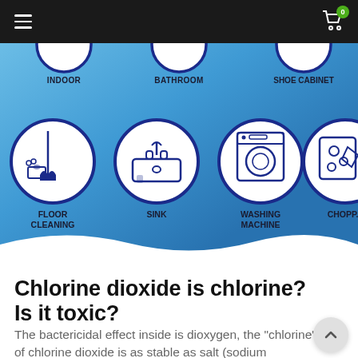Navigation bar with hamburger menu and cart icon (0 items)
[Figure (infographic): Blue gradient background with icons in circles showing usage areas: INDOOR, BATHROOM, SHOE CABINET (top partial row), FLOOR CLEANING, SINK, WASHING MACHINE, CHOPPING (second row with full circles and icons)]
Chlorine dioxide is chlorine? Is it toxic?
The bactericidal effect inside is dioxygen, the "chlorine" of chlorine dioxide is as stable as salt (sodium chloride,)